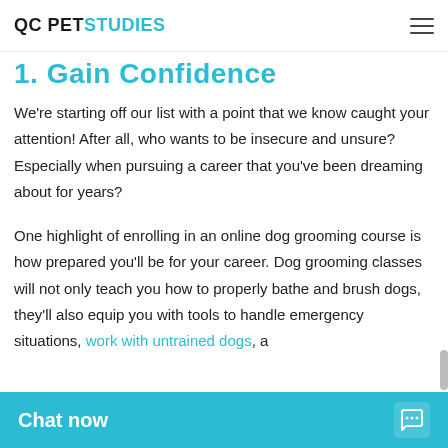QC PET STUDIES
1. Gain Confidence
We're starting off our list with a point that we know caught your attention! After all, who wants to be insecure and unsure? Especially when pursuing a career that you've been dreaming about for years?
One highlight of enrolling in an online dog grooming course is how prepared you'll be for your career. Dog grooming classes will not only teach you how to properly bathe and brush dogs, they'll also equip you with tools to handle emergency situations, work with untrained dogs, a…